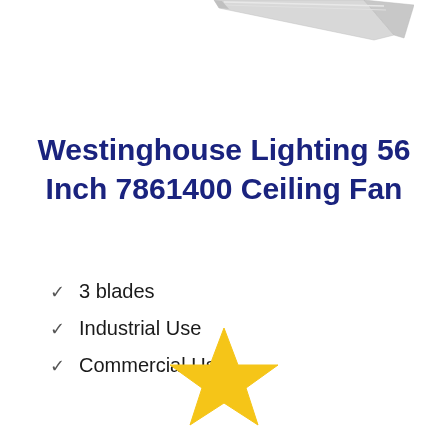[Figure (photo): Partial image of a ceiling fan blade/arm in light gray/silver color, shown from above at an angle, cropped at top of page.]
Westinghouse Lighting 56 Inch 7861400 Ceiling Fan
3 blades
Industrial Use
Commercial Use
[Figure (illustration): A single gold/yellow star icon centered near the bottom of the page.]